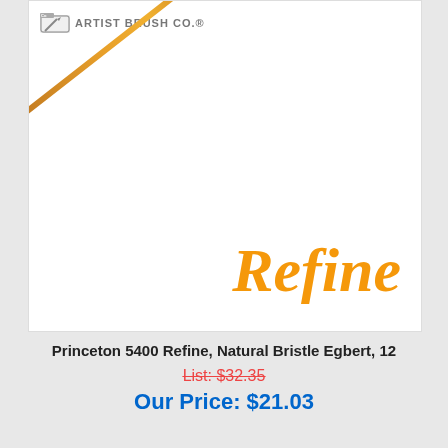[Figure (photo): Princeton Artist Brush Co. logo in top left with an artist brush (natural bristle Egbert) shown diagonally across a white product image box. The word 'Refine' appears in large bold italic orange text in the lower right of the image.]
Princeton 5400 Refine, Natural Bristle Egbert, 12
List: $32.35
Our Price: $21.03